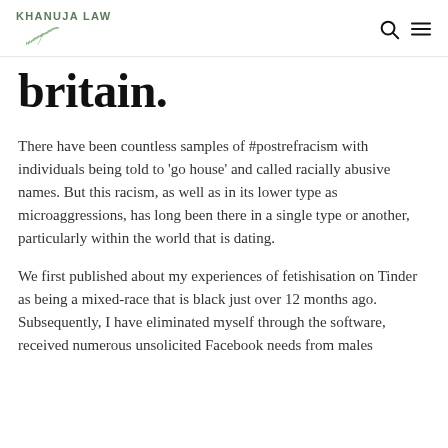KHANUJA LAW
britain.
There have been countless samples of #postrefracism with individuals being told to 'go house' and called racially abusive names. But this racism, as well as in its lower type as microaggressions, has long been there in a single type or another, particularly within the world that is dating.
We first published about my experiences of fetishisation on Tinder as being a mixed-race that is black just over 12 months ago. Subsequently, I have eliminated myself through the software, received numerous unsolicited Facebook needs from males